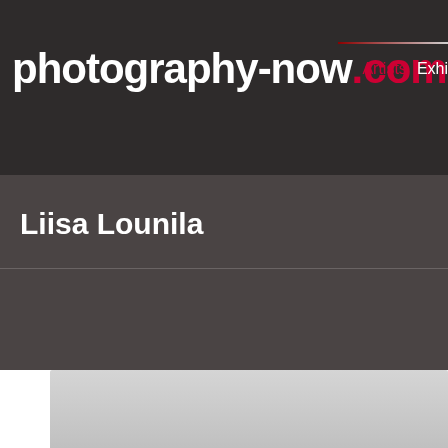photography-now.com  Artists  Exhi
Liisa Lounila
[Figure (photo): Partially visible photograph with light grey/white tones at the bottom of the page]